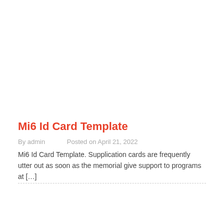Mi6 Id Card Template
By admin   Posted on April 21, 2022
Mi6 Id Card Template. Supplication cards are frequently utter out as soon as the memorial give support to programs at […]